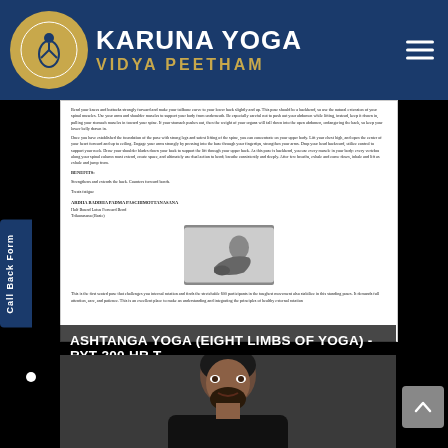Karuna Yoga Vidya Peetham
[Figure (screenshot): Screenshot of a yoga document page showing text content about a yoga pose, with a small figure illustration of a person in a yoga pose at the bottom of the document.]
ASHTANGA YOGA (EIGHT LIMBS OF YOGA) - RYT 200 HR T...
[Figure (photo): Photo of a man with beard wearing a black jacket, appearing to speak or present.]